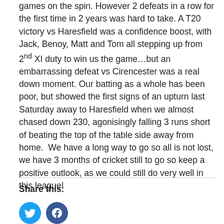games on the spin. However 2 defeats in a row for the first time in 2 years was hard to take. A T20 victory vs Haresfield was a confidence boost, with Jack, Benoy, Matt and Tom all stepping up from 2nd XI duty to win us the game…but an embarrassing defeat vs Cirencester was a real down moment. Our batting as a whole has been poor, but showed the first signs of an upturn last Saturday away to Haresfield when we almost chased down 230, agonisingly falling 3 runs short of beating the top of the table side away from home.  We have a long way to go so all is not lost, we have 3 months of cricket still to go so keep a positive outlook, as we could still do very well in this league!
Share this: